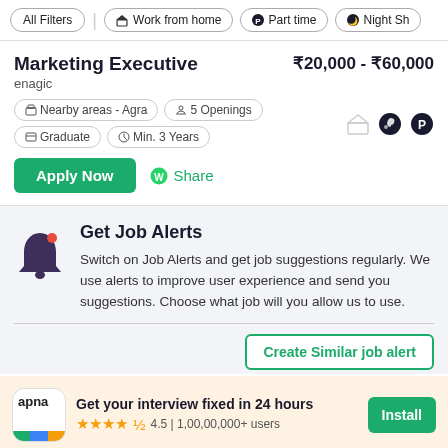All Filters | Work from home | Part time | Night Sh...
Marketing Executive
₹20,000 - ₹60,000
enagic
Nearby areas - Agra
5 Openings
Graduate
Min. 3 Years
Apply Now  Share
Get Job Alerts
Switch on Job Alerts and get job suggestions regularly. We use alerts to improve user experience and send you suggestions. Choose what job will you allow us to use.
Create Similar job alert
Get your interview fixed in 24 hours
4.5 | 1,00,00,000+ users
Install